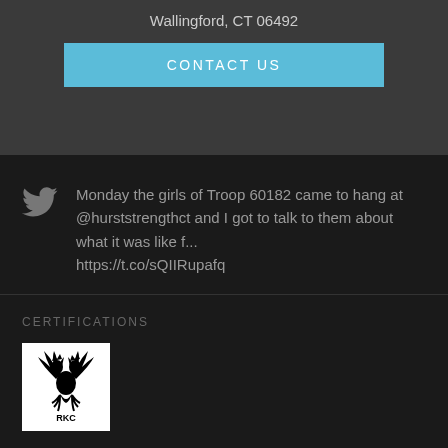Wallingford, CT 06492
CONTACT US
Monday the girls of Troop 60182 came to hang at @hurststrengthct and I got to talk to them about what it was like f... https://t.co/sQIIRupafq
CERTIFICATIONS
[Figure (logo): RKC logo — black double-headed eagle crest on white background with RKC text at the bottom]